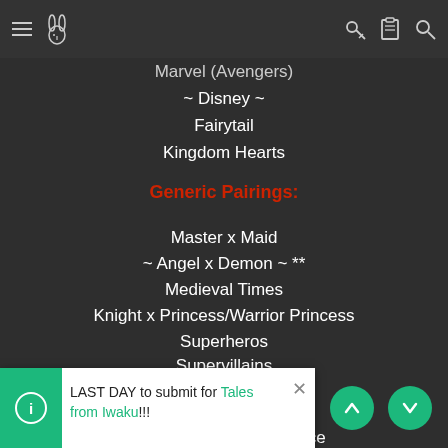Navigation bar with hamburger menu, rabbit icon, key icon, clipboard icon, search icon
Marvel (Avengers)
~ Disney ~
Fairytail
Kingdom Hearts
Generic Pairings:
Master x Maid
~ Angel x Demon ~ **
Medieval Times
Knight x Princess/Warrior Princess
Superheros
Supervillains
Vampire x Human
Supernatural beings
Phoenix X Partner's choice
Predator x Prey Fav **
LAST DAY to submit for Tales from Iwaku!!!